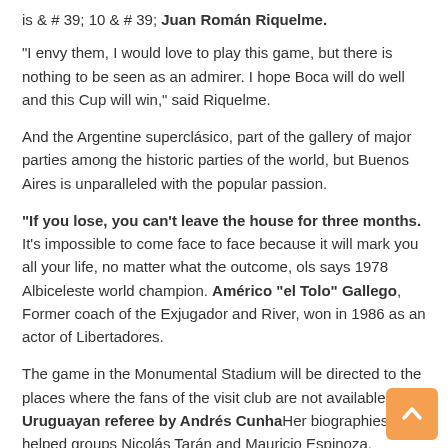is &#39; 10 &#39; Juan Román Riquelme.
"I envy them, I would love to play this game, but there is nothing to be seen as an admirer. I hope Boca will do well and this Cup will win," said Riquelme.
And the Argentine superclásico, part of the gallery of major parties among the historic parties of the world, but Buenos Aires is unparalleled with the popular passion.
"If you lose, you can't leave the house for three months." It's impossible to come face to face because it will mark you all your life, no matter what the outcome, ols says 1978 Albiceleste world champion. Américo "el Tolo" Gallego, Former coach of the Exjugador and River, won in 1986 as an actor of Libertadores.
The game in the Monumental Stadium will be directed to the places where the fans of the visit club are not available. Uruguayan referee by Andrés CunhaHer biographies have helped groups Nicolás Tarán and Mauricio Espinoza.